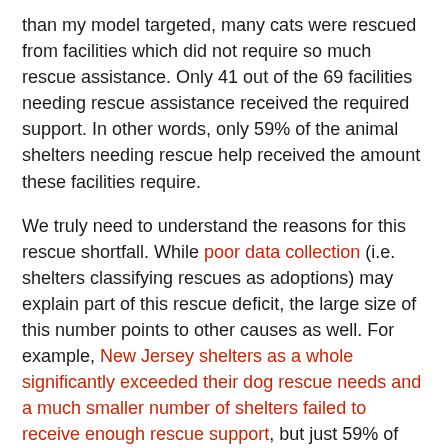than my model targeted, many cats were rescued from facilities which did not require so much rescue assistance. Only 41 out of the 69 facilities needing rescue assistance received the required support. In other words, only 59% of the animal shelters needing rescue help received the amount these facilities require.
We truly need to understand the reasons for this rescue shortfall. While poor data collection (i.e. shelters classifying rescues as adoptions) may explain part of this rescue deficit, the large size of this number points to other causes as well. For example, New Jersey shelters as a whole significantly exceeded their dog rescue needs and a much smaller number of shelters failed to receive enough rescue support, but just 59% of shelters needing cat rescue assistance received the needed support. Certainly, some of these cats are feral and not candidates for most rescues. However, many other cats surely are home-able. Many high kill facilities may not reach out to rescues for cats, such as during kitten season, as much as they do for dogs. This data supports the need for New Jersey to pass shelter reform bill S1834 which requires shelters to